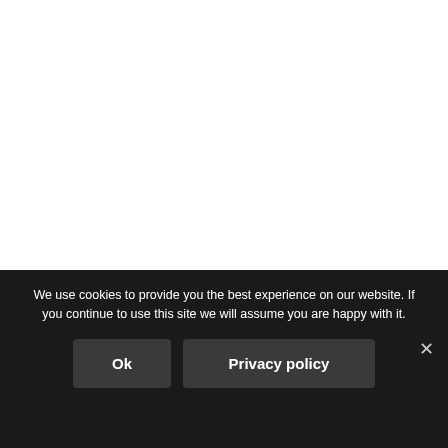Say the word "camera" to yourself. Notice how you emphasize the first part of the word to say it like CAM-er-a.
We use cookies to provide you the best experience on our website. If you continue to use this site we will assume you are happy with it.
Ok
Privacy policy